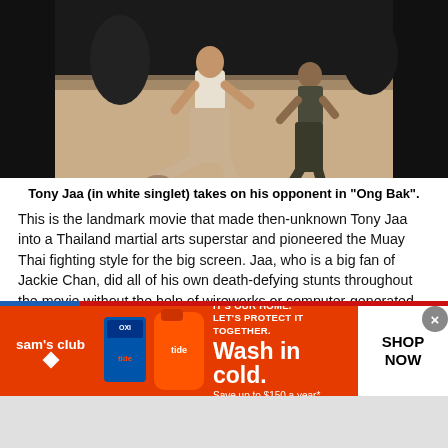[Figure (photo): Tony Jaa fighting scene from 'Ong Bak', showing a fighter in white singlet in a low stance facing opponent]
Tony Jaa (in white singlet) takes on his opponent in "Ong Bak".
This is the landmark movie that made then-unknown Tony Jaa into a Thailand martial arts superstar and pioneered the Muay Thai fighting style for the big screen. Jaa, who is a big fan of Jackie Chan, did all of his own death-defying stunts throughout the movie without the help of wireworks or computer-generated effects. The huge success of "Ong Bak" quickly spawned many Thailand martial arts movie in the subsequent years. Two sequels, "Ong Bak 2" (2008) and "Ong Bak 3" (2010) then followed.
10. "The Raid" (2012)
[Figure (other): Sam's Club advertisement banner: Tide detergent promotion - 'Wash in cold. Save up to $150 a year*' with SHOP NOW button]